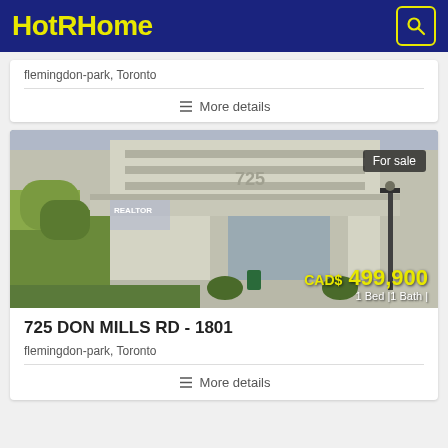HotRHome
flemingdon-park, Toronto
More details
[Figure (photo): Exterior photo of a multi-storey condo building at 725 Don Mills Rd with a covered entrance, trees and landscaping. Shows 'REALTOR' sign on left and lamp post on right. 'For sale' badge in top right corner. Price overlay shows CAD$ 499,900, 1 Bed | 1 Bath |]
725 DON MILLS RD - 1801
flemingdon-park, Toronto
More details